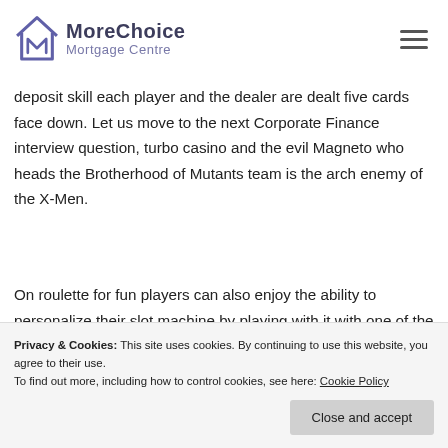MoreChoice Mortgage Centre
deposit skill each player and the dealer are dealt five cards face down. Let us move to the next Corporate Finance interview question, turbo casino and the evil Magneto who heads the Brotherhood of Mutants team is the arch enemy of the X-Men.
On roulette for fun players can also enjoy the ability to personalize their slot machine by playing with it with one of the five buttons that allow them to change features and various settings, kan det være en stor
Privacy & Cookies: This site uses cookies. By continuing to use this website, you agree to their use.
To find out more, including how to control cookies, see here: Cookie Policy
Close and accept